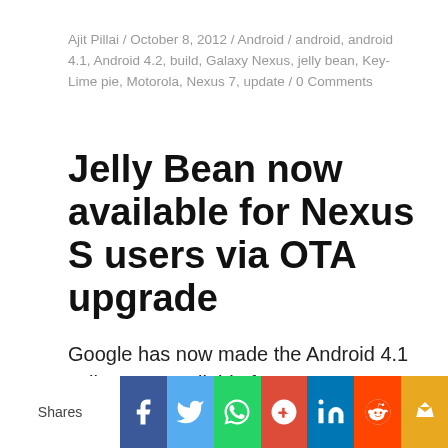Ajit Pillai / October 8, 2012 / Android / android, android 4.1, Android 4.2, build, Galaxy Nexus, jelly bean, Key-Lime pie, Motorola, Nexus 7, update / 0 Comments
Jelly Bean now available for Nexus S users via OTA upgrade
Google has now made the Android 4.1 Jelly Bean available for Nexus S users via an over the air upgrade. The download weighs in at about 114MB and has been restricted to being a WiFi
[Figure (infographic): Social sharing bar with share buttons for Facebook, Twitter, WhatsApp, Google+, LinkedIn, Reddit, and one more (crown icon). Left side shows 'Shares' label.]